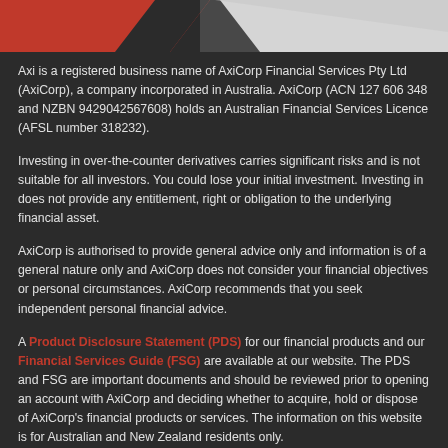[Figure (other): Header graphic with dark background, red diagonal shape on left and light grey diagonal shape on right]
Axi is a registered business name of AxiCorp Financial Services Pty Ltd (AxiCorp), a company incorporated in Australia. AxiCorp (ACN 127 606 348 and NZBN 9429042567608) holds an Australian Financial Services Licence (AFSL number 318232).
Investing in over-the-counter derivatives carries significant risks and is not suitable for all investors. You could lose your initial investment. Investing in does not provide any entitlement, right or obligation to the underlying financial asset.
AxiCorp is authorised to provide general advice only and information is of a general nature only and AxiCorp does not consider your financial objectives or personal circumstances. AxiCorp recommends that you seek independent personal financial advice.
A Product Disclosure Statement (PDS) for our financial products and our Financial Services Guide (FSG) are available at our website. The PDS and FSG are important documents and should be reviewed prior to opening an account with AxiCorp and deciding whether to acquire, hold or dispose of AxiCorp's financial products or services. The information on this website is for Australian and New Zealand residents only.